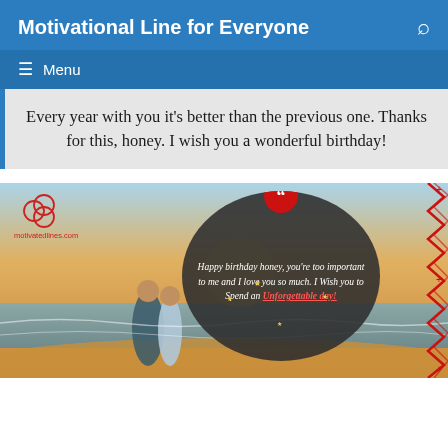Motivational Line for Everyone
Menu
Every year with you it’s better than the previous one. Thanks for this, honey. I wish you a wonderful birthday!
[Figure (photo): Couple walking on beach at sunset with birthday quote overlay on dark circle. Text reads: Happy birthday honey, you’re too important to me and I love you so much. I Wish you to Spend an Unforgettable day! Logo for motivatedlines.com shown top left. Red zigzag decorative border on right edge.]